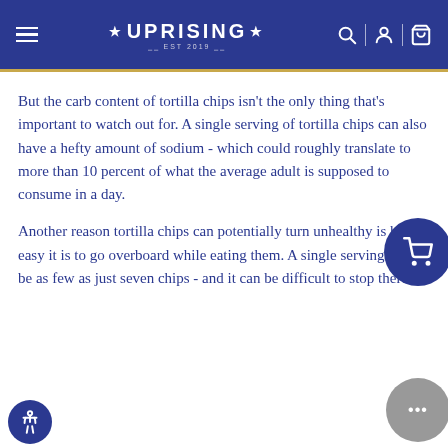UPRISING — navigation header with menu, logo, search, account, and cart icons
But the carb content of tortilla chips isn't the only thing that's important to watch out for. A single serving of tortilla chips can also have a hefty amount of sodium - which could roughly translate to more than 10 percent of what the average adult is supposed to consume in a day.
Another reason tortilla chips can potentially turn unhealthy is how easy it is to go overboard while eating them. A single serving may be as few as just seven chips - and it can be difficult to stop there.